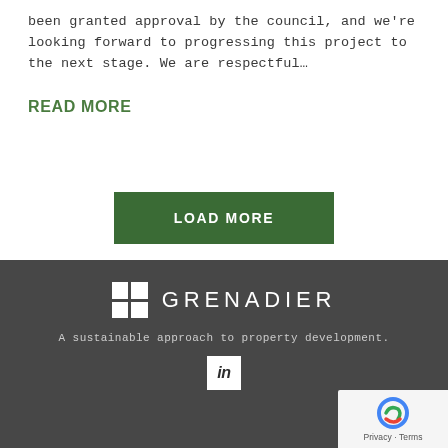been granted approval by the council, and we're looking forward to progressing this project to the next stage. We are respectful…
READ MORE
LOAD MORE
[Figure (logo): Grenadier logo — white 2x2 grid square followed by GRENADIER wordmark in white on dark grey background]
A sustainable approach to property development.
[Figure (logo): LinkedIn social media icon — white square with 'in' text]
Privacy · Terms